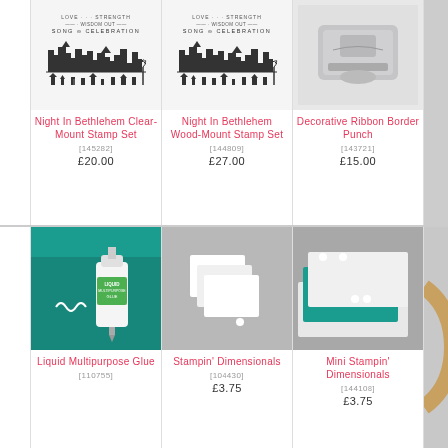[Figure (photo): Night In Bethlehem Clear-Mount Stamp Set product image showing cityscape silhouette stamp]
Night In Bethlehem Clear-Mount Stamp Set
[145282]
£20.00
[Figure (photo): Night In Bethlehem Wood-Mount Stamp Set product image showing cityscape silhouette stamp]
Night In Bethlehem Wood-Mount Stamp Set
[144809]
£27.00
[Figure (photo): Decorative Ribbon Border Punch product image]
Decorative Ribbon Border Punch
[143721]
£15.00
[Figure (photo): Partial fourth product image cropped on right]
[Figure (photo): Liquid Multipurpose Glue product image showing green glue bottle on teal cardstock]
Liquid Multipurpose Glue
[110755]
[Figure (photo): Stampin' Dimensionals product image showing white foam squares]
Stampin' Dimensionals
[104430]
£3.75
[Figure (photo): Mini Stampin' Dimensionals product image showing teal and white layered cardstock with small foam dots]
Mini Stampin' Dimensionals
[144108]
£3.75
[Figure (photo): Partial fourth product cropped on right, wooden ring visible]